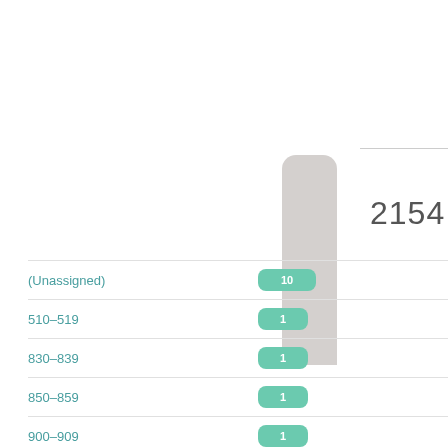2154
[Figure (bar-chart): Category distribution]